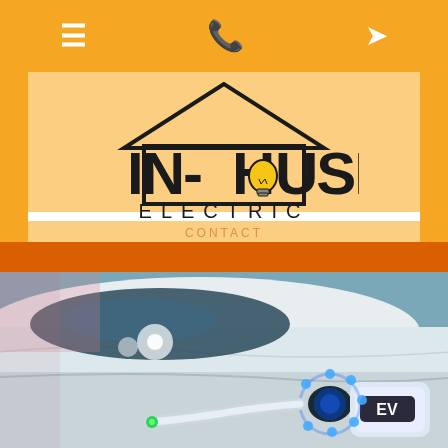Navigation bar with menu, phone, and location icons
[Figure (logo): In-House Electric logo with house outline, lightbulb replacing the O in HOUSE, and ELECTRIC text below]
[Figure (photo): Close-up photo of an electric vehicle (EV) being charged, showing a white car with a glowing blue circular EV charging port connector plugged in, with green indicator light visible]